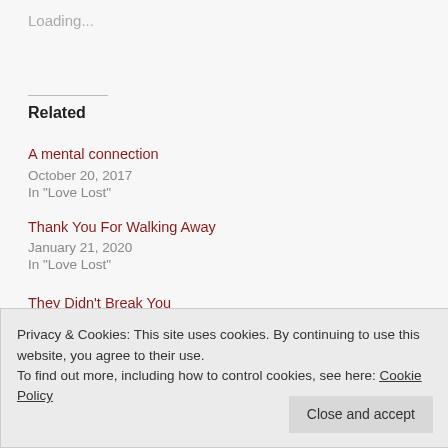Loading...
Related
A mental connection
October 20, 2017
In "Love Lost"
Thank You For Walking Away
January 21, 2020
In "Love Lost"
They Didn't Break You
June 16, 2021
In "Love Lost"
Privacy & Cookies: This site uses cookies. By continuing to use this website, you agree to their use.
To find out more, including how to control cookies, see here: Cookie Policy